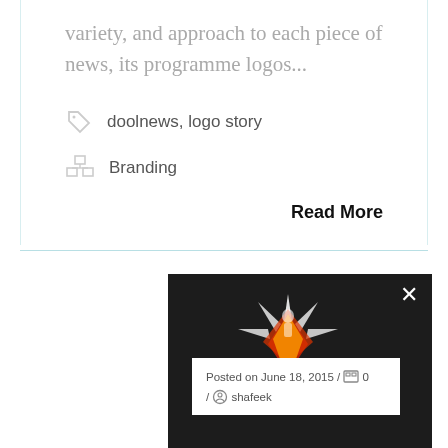variety, and approach to each piece of news, its programme logos...
doolnews, logo story
Branding
Read More
[Figure (photo): Dark background image with a colorful burst/explosion graphic featuring a figure, with overlaid text 'The play... ...ll have' and a white card overlay showing post metadata]
Posted on June 18, 2015 / 0
/ shafeek